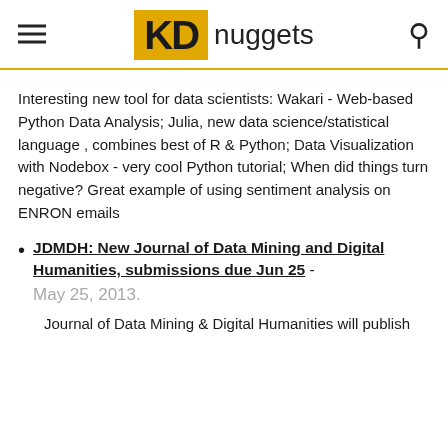KD nuggets
Interesting new tool for data scientists: Wakari - Web-based Python Data Analysis; Julia, new data science/statistical language , combines best of R & Python; Data Visualization with Nodebox - very cool Python tutorial; When did things turn negative? Great example of using sentiment analysis on ENRON emails
JDMDH: New Journal of Data Mining and Digital Humanities, submissions due Jun 25 - May 25, 2013.
Journal of Data Mining & Digital Humanities will publish